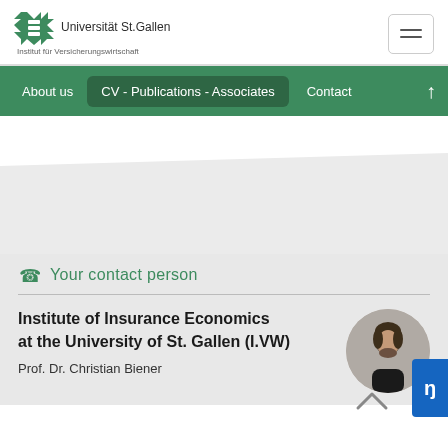Universität St.Gallen — Institut für Versicherungswirtschaft
[Figure (logo): Universität St.Gallen logo with green starburst and text]
About us  CV - Publications - Associates  Contact
Your contact person
Institute of Insurance Economics at the University of St. Gallen (I.VW)
[Figure (photo): Circular profile photo of Prof. Dr. Christian Biener]
Prof. Dr. Christian Biener